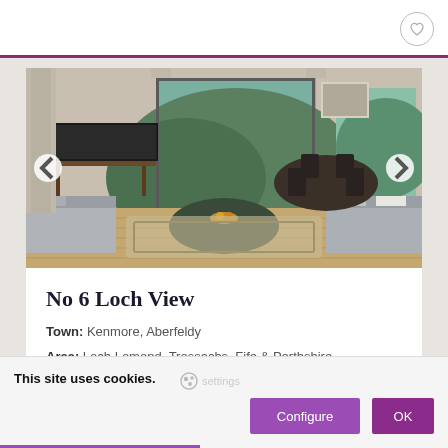[Figure (photo): Interior photo of a modern living room with a flat-screen TV on a wooden stand, large floor-to-ceiling windows showing green hills, a curved coffee table with a fruit bowl, light grey sofa with cushions, and a dining table with chairs in the background. Navigation arrows on each side.]
No 6 Loch View
Town: Kenmore, Aberfeldy
Area: Loch Lomond, Trossachs, Fife & Perthshire
From £960
This site uses cookies.
Configure
OK